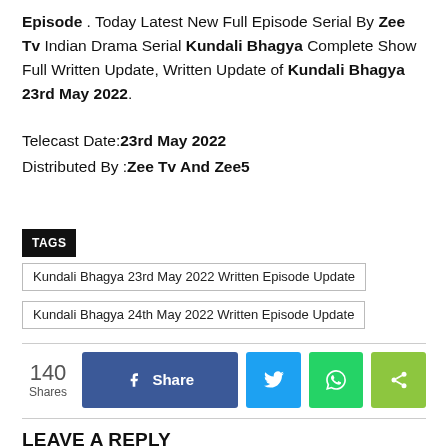Episode . Today Latest New Full Episode Serial By Zee Tv Indian Drama Serial Kundali Bhagya Complete Show Full Written Update, Written Update of Kundali Bhagya 23rd May 2022.
Telecast Date:23rd May 2022
Distributed By :Zee Tv And Zee5
Kundali Bhagya 23rd May 2022 Written Episode Update
Kundali Bhagya 24th May 2022 Written Episode Update
140 Shares | Share | Twitter | WhatsApp | Share
LEAVE A REPLY